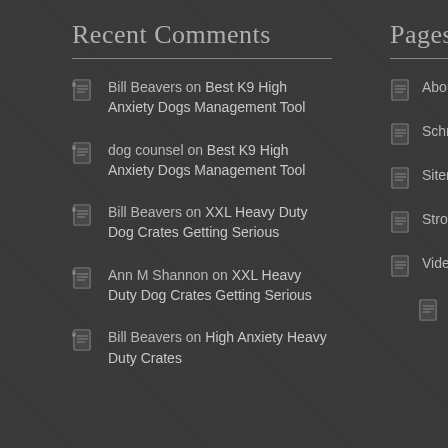Recent Comments
Bill Beavers on Best K9 High Anxiety Dogs Management Tool
dog counsel on Best K9 High Anxiety Dogs Management Tool
Bill Beavers on XXL Heavy Duty Dog Crates Getting Serious
Ann M Shannon on XXL Heavy Duty Dog Crates Getting Serious
Bill Beavers on High Anxiety Heavy Duty Crates
Pages
About
Schmitty the
Sitemap
Strongest L
Videos
Dog T